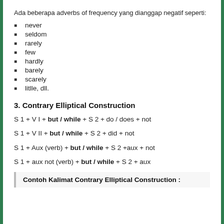Ada beberapa adverbs of frequency yang dianggap negatif seperti:
never
seldom
rarely
few
hardly
barely
scarely
litlle, dll.
3. Contrary Elliptical Construction
Contoh Kalimat Contrary Elliptical Construction :